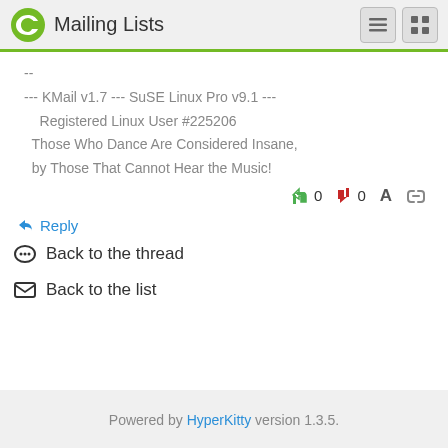Mailing Lists
--
--- KMail v1.7 --- SuSE Linux Pro v9.1 ---
Registered Linux User #225206
Those Who Dance Are Considered Insane,
by Those That Cannot Hear the Music!
👍 0  👎 0  A  🔗
↩ Reply
💬 Back to the thread
✉ Back to the list
Powered by HyperKitty version 1.3.5.